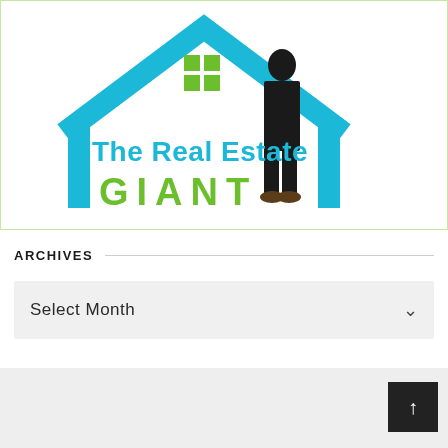[Figure (logo): The Real Estate GIANT logo: house outline in cyan/blue with green window squares and a person in dark suit standing in front. Text reads 'The Real Estate GIANT' in cyan and green.]
ARCHIVES
Select Month
↑ back to top button